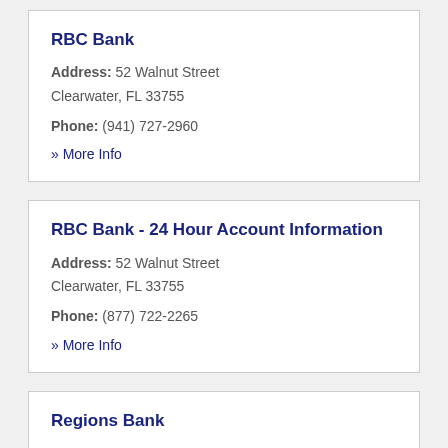RBC Bank
Address: 52 Walnut Street Clearwater, FL 33755
Phone: (941) 727-2960
» More Info
RBC Bank - 24 Hour Account Information
Address: 52 Walnut Street Clearwater, FL 33755
Phone: (877) 722-2265
» More Info
Regions Bank